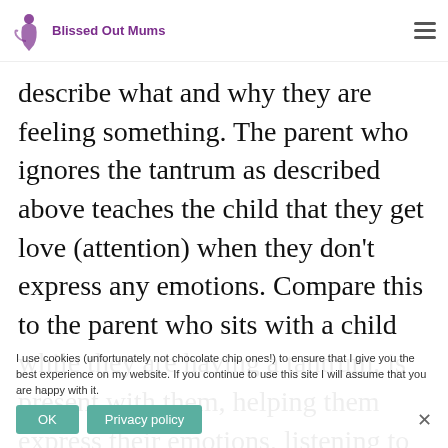Blissed Out Mums
describe what and why they are feeling something. The parent who ignores the tantrum as described above teaches the child that they get love (attention) when they don't express any emotions. Compare this to the parent who sits with a child while they are having a tantrum, is present with them, helping them express their emotions, listening to them and communicating love. This teaches a child that they are always loved, even when they are unset and having a hard time.
As the old saying goes, actions speak louder
I use cookies (unfortunately not chocolate chip ones!) to ensure that I give you the best experience on my website. If you continue to use this site I will assume that you are happy with it.